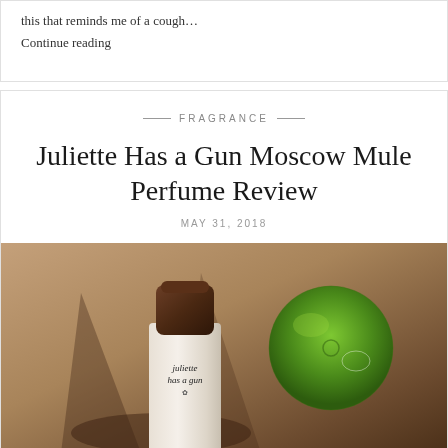this that reminds me of a cough…
Continue reading
— FRAGRANCE —
Juliette Has a Gun Moscow Mule Perfume Review
MAY 31, 2018
[Figure (photo): A Juliette Has a Gun perfume bottle with a brown/dark cap, white cylindrical body with brand text, placed next to a green lime on a warm brown surface with shadows.]